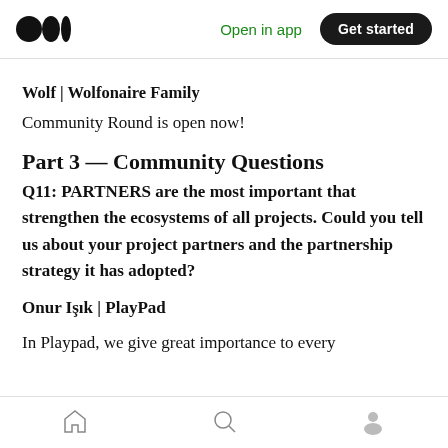Open in app  Get started
Wolf | Wolfonaire Family
Community Round is open now!
Part 3 — Community Questions
Q11: PARTNERS are the most important that strengthen the ecosystems of all projects. Could you tell us about your project partners and the partnership strategy it has adopted?
Onur Işık | PlayPad
In Playpad, we give great importance to every